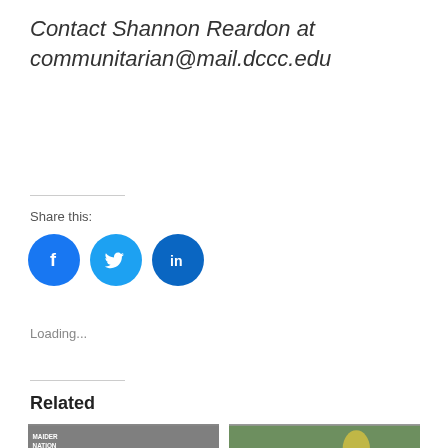Contact Shannon Reardon at communitarian@mail.dccc.edu
Share this:
[Figure (infographic): Three social media share buttons: Facebook (blue circle with f icon), Twitter (light blue circle with bird icon), LinkedIn (dark blue circle with 'in' icon)]
Loading...
Related
[Figure (photo): Photo showing people at an event with a 'Maider Nation' sign]
[Figure (photo): Photo showing a plant or seedling outdoors]